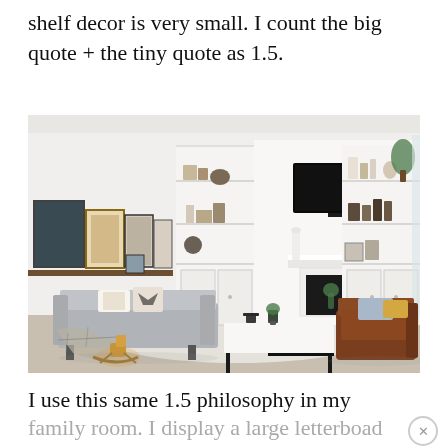shelf decor is very small. I count the big quote + the tiny quote as 1.5.
[Figure (photo): Bright, modern living room with white built-in shelving flanking a fireplace and wall-mounted TV. A gray sofa with patterned pillows, a brown leather armchair, white coffee table with black metal legs, a small rocking horse, a plaid throw blanket, and a small potted plant are visible. Gallery frames lean against the left wall on a wooden shelf ledge. The room has a white rug, hardwood floors, and large windows.]
I use this same 1.5 philosophy in my
family room. I display a large letterboad that love and also have a small p...